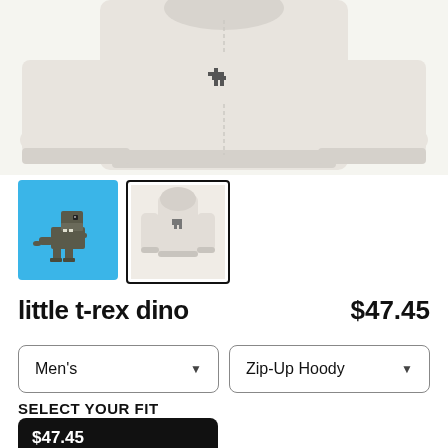[Figure (photo): Product image of a light beige/cream zip-up hoodie shown from the back, with front sleeves visible on sides]
[Figure (photo): Thumbnail 1: pixel art dinosaur (t-rex) on blue background]
[Figure (photo): Thumbnail 2: hoodie product photo with black border selected state]
little t-rex dino
$47.45
Men's
Zip-Up Hoody
SELECT YOUR FIT
$47.45
French Terry